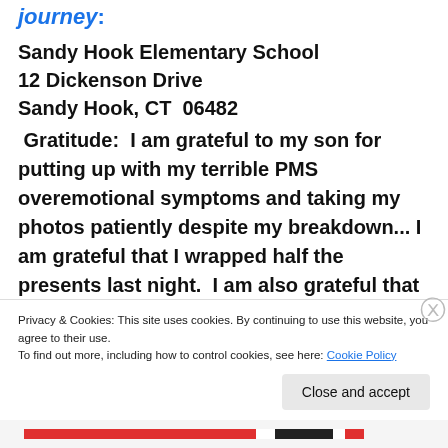journey:
Sandy Hook Elementary School
12 Dickenson Drive
Sandy Hook, CT  06482
Gratitude:  I am grateful to my son for putting up with my terrible PMS overemotional symptoms and taking my photos patiently despite my breakdown... I am grateful that I wrapped half the presents last night.  I am also grateful that I was able to do the grocery shopping for Christmas breakfast and dinner yesterday...  I am grateful that I have my husbandie
Privacy & Cookies: This site uses cookies. By continuing to use this website, you agree to their use.
To find out more, including how to control cookies, see here: Cookie Policy